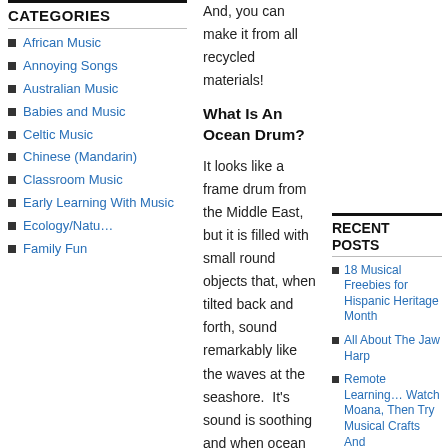CATEGORIES
African Music
Annoying Songs
Australian Music
Babies and Music
Celtic Music
Chinese (Mandarin)
Classroom Music
Early Learning With Music
Ecology/Natu…
Family Fun
And, you can make it from all recycled materials!
What Is An Ocean Drum?
It looks like a frame drum from the Middle East, but it is filled with small round objects that, when tilted back and forth, sound remarkably like the waves at the seashore.  It's sound is soothing and when ocean drums are filled with colorful or interesting objects, they are as beautiful to watch as they are to hear.
[Figure (photo): Photo of an ocean drum with colorful small round objects on a blue background, with a triangular pink/salmon colored frame element]
RECENT POSTS
18 Musical Freebies for Hispanic Heritage Month
All About The Jaw Harp
Remote Learning… Watch Moana, Then Try Musical Crafts And